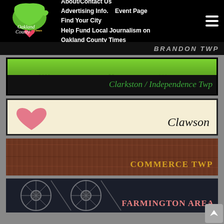Oakland County Times navigation bar with logo, About/Contact Us, Advertising Info., Event Page, Find Your City, Help Fund Local Journalism on Oakland County Times
[Figure (logo): Oakland County Times logo: green Michigan mitten shape with pink heart, text 'Oakland County Times']
BRANDON TWP
[Figure (photo): Clarkston / Independence Twp banner: green grass texture top half, black bottom half with italic green text]
Clarkston / Independence Twp
[Figure (illustration): Clawson banner: cream/tan background with pink hand-drawn heart on left, italic text 'Clawson' on right]
Clawson
[Figure (photo): Commerce Twp banner: dark wood texture background with small-caps gold text]
Commerce Twp
[Figure (photo): Farmington Area banner: dark background with vintage wheel/bicycle elements, pink small-caps text]
Farmington Area